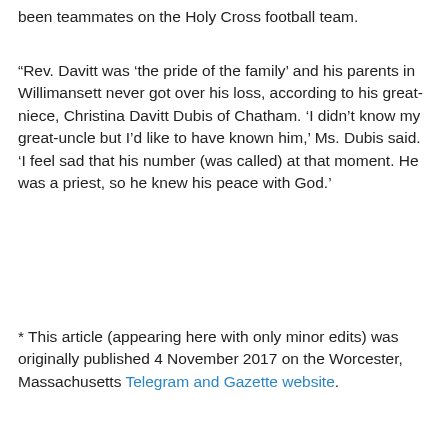been teammates on the Holy Cross football team.
“Rev. Davitt was ‘the pride of the family’ and his parents in Willimansett never got over his loss, according to his great-niece, Christina Davitt Dubis of Chatham. ‘I didn’t know my great-uncle but I’d like to have known him,’ Ms. Dubis said. ‘I feel sad that his number (was called) at that moment. He was a priest, so he knew his peace with God.’
* This article (appearing here with only minor edits) was originally published 4 November 2017 on the Worcester, Massachusetts Telegram and Gazette website.